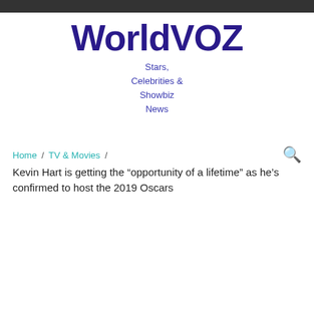WorldVOZ
Stars, Celebrities & Showbiz News
Home / TV & Movies /
Kevin Hart is getting the "opportunity of a lifetime" as he's confirmed to host the 2019 Oscars